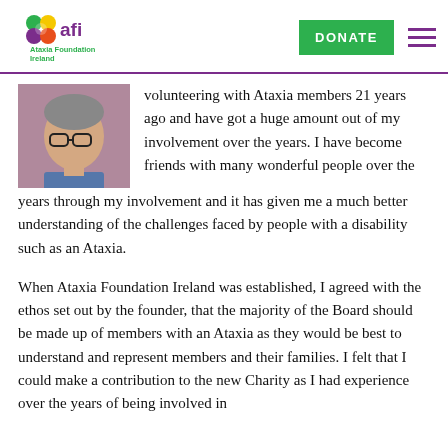[Figure (logo): AFI Ataxia Foundation Ireland logo with colourful clover-like symbol and purple text]
[Figure (photo): Portrait photo of a middle-aged man with glasses]
volunteering with Ataxia members 21 years ago and have got a huge amount out of my involvement over the years. I have become friends with many wonderful people over the years through my involvement and it has given me a much better understanding of the challenges faced by people with a disability such as an Ataxia.
When Ataxia Foundation Ireland was established, I agreed with the ethos set out by the founder, that the majority of the Board should be made up of members with an Ataxia as they would be best to understand and represent members and their families. I felt that I could make a contribution to the new Charity as I had experience over the years of being involved in